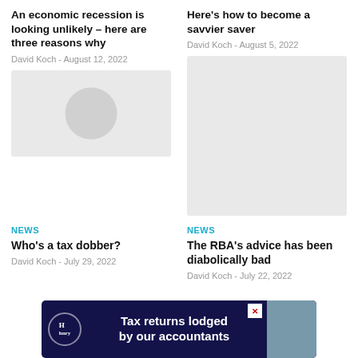An economic recession is looking unlikely – here are three reasons why
David Koch - August 12, 2022
[Figure (photo): Placeholder image for article about economic recession]
Here's how to become a savvier saver
David Koch - August 5, 2022
[Figure (photo): Placeholder image for article about saving]
NEWS
Who's a tax dobber?
David Koch - July 29, 2022
NEWS
The RBA's advice has been diabolically bad
David Koch - July 22, 2022
[Figure (advertisement): Hnry ad banner: Tax returns lodged by our accountants]